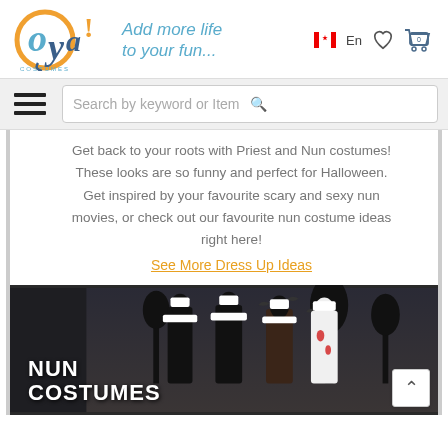[Figure (logo): Oya Costumes logo with orange circle, blue lettering 'oya!' and tagline 'Add more life to your fun...' in italic blue text; Canadian flag icon with 'En' label, heart icon, shopping cart with 0 items]
[Figure (screenshot): Navigation bar with hamburger menu icon and search box with placeholder 'Search by keyword or Item' and orange search icon]
Get back to your roots with Priest and Nun costumes! These looks are so funny and perfect for Halloween. Get inspired by your favourite scary and sexy nun movies, or check out our favourite nun costume ideas right here!
See More Dress Up Ideas
[Figure (photo): Dark atmospheric image showing four figures in nun costumes against a moody sky background with bats. Text overlay reads 'NUN COSTUMES' in bold white capital letters. A white scroll-to-top button is visible in the bottom right corner.]